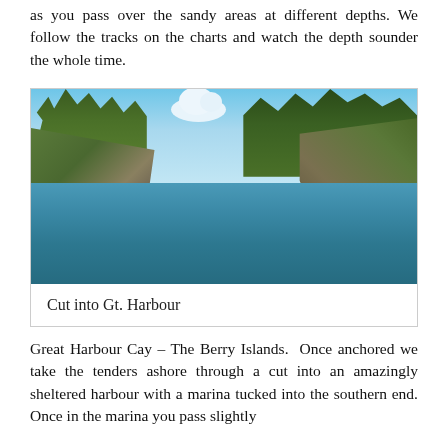as you pass over the sandy areas at different depths. We follow the tracks on the charts and watch the depth sounder the whole time.
[Figure (photo): Photograph of a narrow water cut or channel leading into Great Harbour, flanked by rocky limestone shores with lush green trees above. The sky is blue with a white cloud visible in the upper center.]
Cut into Gt. Harbour
Great Harbour Cay – The Berry Islands.  Once anchored we take the tenders ashore through a cut into an amazingly sheltered harbour with a marina tucked into the southern end. Once in the marina you pass slightly